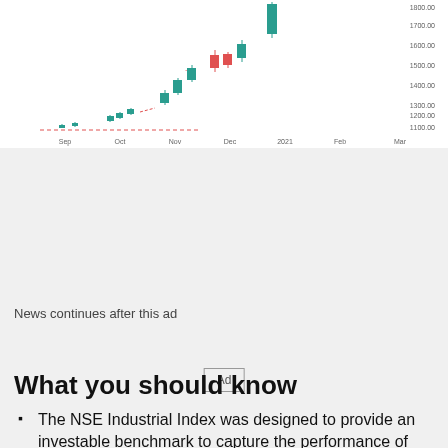[Figure (continuous-plot): Candlestick chart showing stock price movement from Sep to Mar 2021, with prices ranging from approximately 1100 to 1800. Green (bullish) and red (bearish) candlesticks with a dashed horizontal baseline around 1100. Y-axis shows values 1100.00 to 1800.00. X-axis shows months: Sep, Oct, Nov, Dec, 2021, Feb, Mar.]
News continues after this ad
[Figure (other): Advertisement placeholder showing 'Ad' label in a bordered box on gray background]
What you should know
The NSE Industrial Index was designed to provide an investable benchmark to capture the performance of the Industrial Sector. It